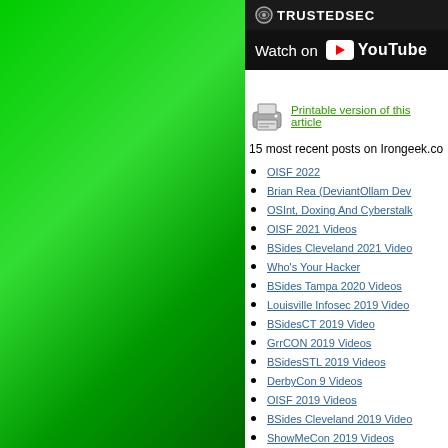[Figure (other): Green gradient sidebar on the left portion of the page]
[Figure (logo): TrustedSec logo in dark bar with gear/eye icon]
[Figure (screenshot): Watch on YouTube button bar in dark background]
Printable version of this article
15 most recent posts on Irongeek.co
OISF 2022
Brian Rea (DeviantOllam Dev
OSInt, Doxing And Cyberstalk
OISF 2021 Videos
BSides Cleveland 2021 Video
Who's Your Hacker
BSides Tampa 2020 Videos
Louisville Infosec 2019 Video
BSidesCT 2019 Video
GrrCON 2019 Videos
BSidesSTL 2019 Videos
DerbyCon 9 Videos
OISF 2019 Videos
BSides Cleveland 2019 Video
ShowMeCon 2019 Videos